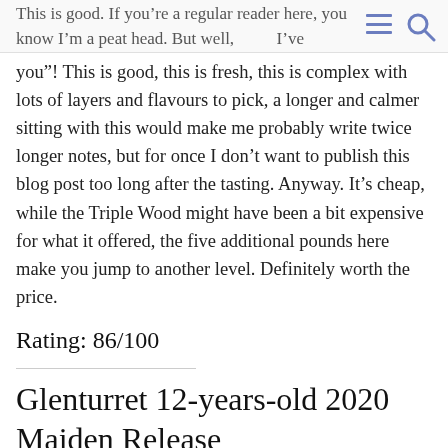This is good. If you're a regular reader here, you know I'm a peat head. But well, as I've already said, peat is God's way to tell us "I love
you"! This is good, this is fresh, this is complex with lots of layers and flavours to pick, a longer and calmer sitting with this would make me probably write twice longer notes, but for once I don't want to publish this blog post too long after the tasting. Anyway. It's cheap, while the Triple Wood might have been a bit expensive for what it offered, the five additional pounds here make you jump to another level. Definitely worth the price.
Rating: 86/100
Glenturret 12-years-old 2020 Maiden Release